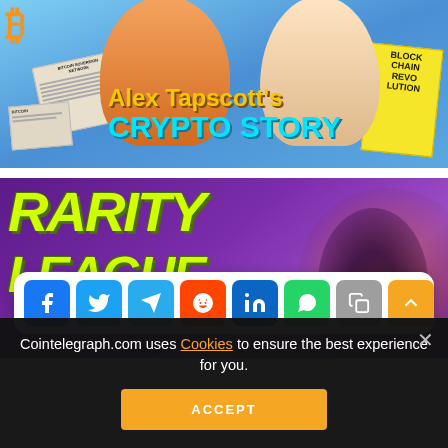[Figure (illustration): Promotional banner for 'Alex Tapscott's Crypto Story' featuring cartoon characters, Bitcoin symbol, newspaper clippings, and a 'Blockchain Revolution' yellow paper sign. Blue sky background.]
[Figure (illustration): Promotional banner for 'Rarity League' with neon yellow-green graffiti-style text on a dark purple gradient background with a glowing orange element on the right.]
[Figure (infographic): Social media share buttons bar: Facebook (blue), Twitter (light blue), Telegram (blue), Reddit (orange-red), LinkedIn (dark blue), WhatsApp (green), Copy (gray), Scroll-up (orange). White rounded-rectangle container.]
Cointelegraph.com uses Cookies to ensure the best experience for you.
ACCEPT